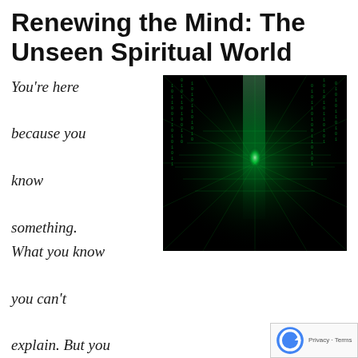Renewing the Mind: The Unseen Spiritual World
[Figure (photo): Dark background with glowing green light streaks and digital matrix-style vertical lines radiating from center, resembling the Matrix movie visual effect or a spiritual unseen world concept.]
You're here because you know something. What you know you can't explain. But you feel it. You've felt it your entire life... There's something wrong with the world. You don't know what it is, but it's there, like a splinter in your mind driving you mad. It is this feeling that has brought you to me. Do you know what